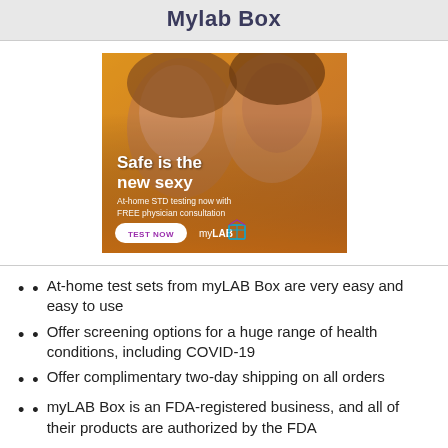Mylab Box
[Figure (photo): Advertisement image for myLAB Box showing two people about to kiss with text overlay: 'Safe is the new sexy — At-home STD testing now with FREE physician consultation' and a 'TEST NOW' button with the myLAB Box logo.]
At-home test sets from myLAB Box are very easy and easy to use
Offer screening options for a huge range of health conditions, including COVID-19
Offer complimentary two-day shipping on all orders
myLAB Box is an FDA-registered business, and all of their products are authorized by the FDA